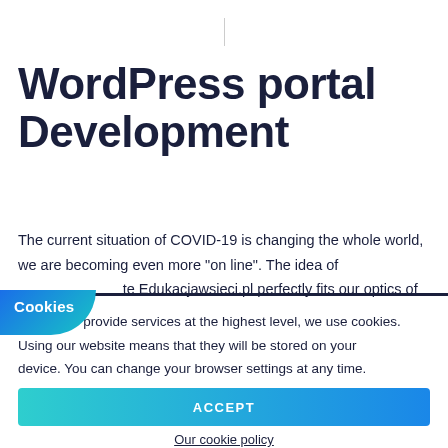WordPress portal Development
The current situation of COVID-19 is changing the whole world, we are becoming even more “on line”. The idea of te Edukacjawsieci.pl perfectly fits our optics of
Cookies
In order to provide services at the highest level, we use cookies. Using our website means that they will be stored on your device. You can change your browser settings at any time.
ACCEPT
Our cookie policy